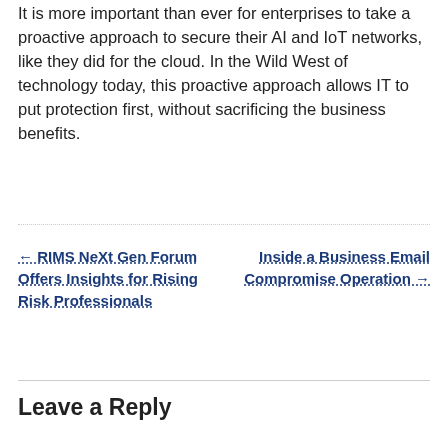It is more important than ever for enterprises to take a proactive approach to secure their AI and IoT networks, like they did for the cloud. In the Wild West of technology today, this proactive approach allows IT to put protection first, without sacrificing the business benefits.
← RIMS NeXt Gen Forum Offers Insights for Rising Risk Professionals
Inside a Business Email Compromise Operation →
Leave a Reply